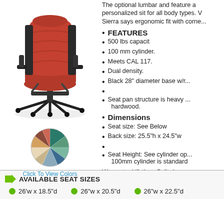The optional lumbar and feature a personalized sit for all body types. Sierra says ergonomic fit with corne...
[Figure (photo): Red ergonomic office chair with black base and armrests, viewed from front-left angle]
[Figure (illustration): Circular color swatch wheel showing multiple fabric color options]
Click To View Colors
FEATURES
500 lbs capacit
100 mm cylinder.
Meets CAL 117.
Dual density.
Black 28" diameter base w/r...
Seat pan structure is heavy ... hardwood.
Dimensions
Seat size: See Below
Back size: 25.5"h x 24.5"w
Seat Height: See cylinder op... 100mm cylinder is standard
Warranty: Lifetime Cylinder, ...
AVAILABLE SEAT SIZES
26'w x 18.5"d
26"w x 20.5"d
26"w x 22.5"d